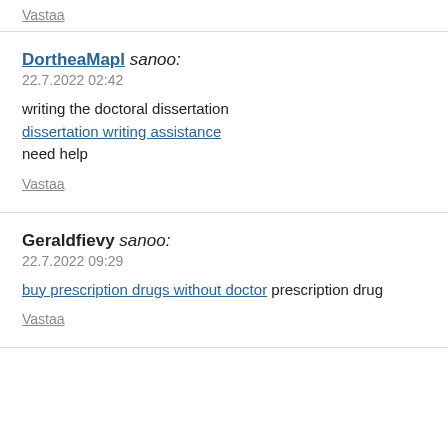Vastaa
DortheaMapl sanoo:
22.7.2022 02:42
writing the doctoral dissertation
dissertation writing assistance
need help
Vastaa
Geraldfievy sanoo:
22.7.2022 09:29
buy prescription drugs without doctor prescription drug
Vastaa